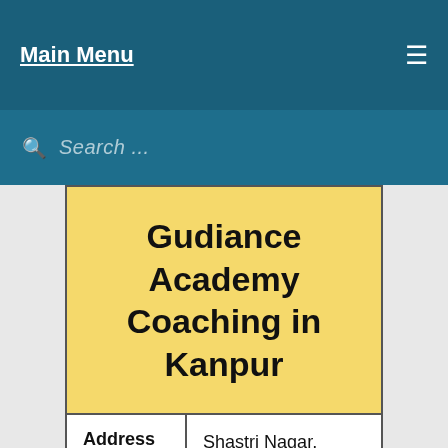Main Menu
Search ...
[Figure (infographic): Yellow banner with bold text: Gudiance Academy Coaching in Kanpur]
| Address | Shastri Nagar, Apartments Road, Shastri Nagar, Kanpur, Uttar Pradesh |